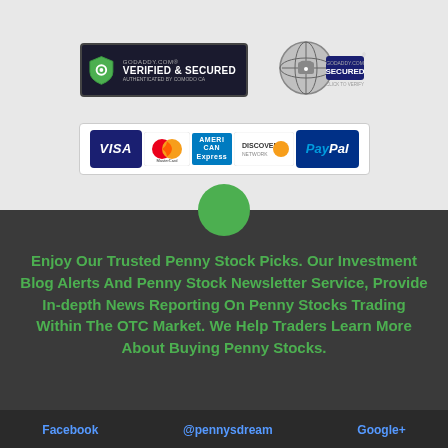[Figure (logo): GoDaddy.com Verified & Secured badge (green shield icon, dark background)]
[Figure (logo): GoDaddy.com Secured badge (globe/lock icon)]
[Figure (logo): Payment methods row: Visa, MasterCard, American Express, Discover, PayPal]
Enjoy Our Trusted Penny Stock Picks. Our Investment Blog Alerts And Penny Stock Newsletter Service, Provide In-depth News Reporting On Penny Stocks Trading Within The OTC Market. We Help Traders Learn More About Buying Penny Stocks.
Facebook   @pennysdream   Google+